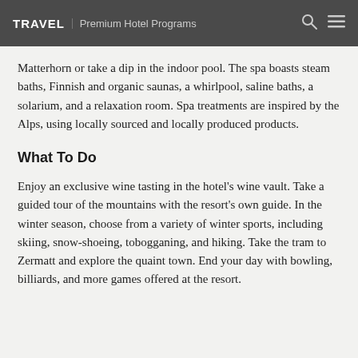TRAVEL | Premium Hotel Programs
Matterhorn or take a dip in the indoor pool. The spa boasts steam baths, Finnish and organic saunas, a whirlpool, saline baths, a solarium, and a relaxation room. Spa treatments are inspired by the Alps, using locally sourced and locally produced products.
What To Do
Enjoy an exclusive wine tasting in the hotel's wine vault. Take a guided tour of the mountains with the resort's own guide. In the winter season, choose from a variety of winter sports, including skiing, snow-shoeing, tobogganing, and hiking. Take the tram to Zermatt and explore the quaint town. End your day with bowling, billiards, and more games offered at the resort.